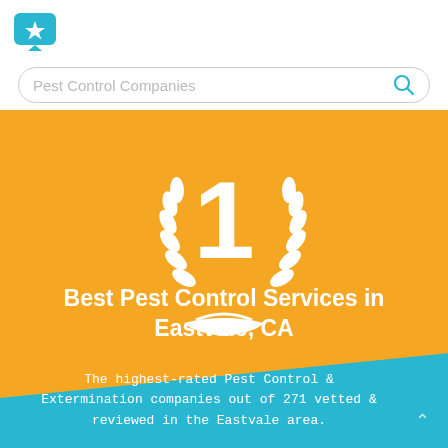[Figure (logo): Teal speech bubble with a white star icon — app/site logo]
[Figure (screenshot): Search bar with placeholder text 'Pest Control Companies' and a teal magnifying glass search icon]
[Figure (infographic): Hero banner with teal and orange diagonal background, white #1 award badge with laurel wreath in center]
Best Pest Control Services in Eastvale, CA
The highest-rated Pest Control & Extermination companies out of 271 vetted & reviewed in the Eastvale area.